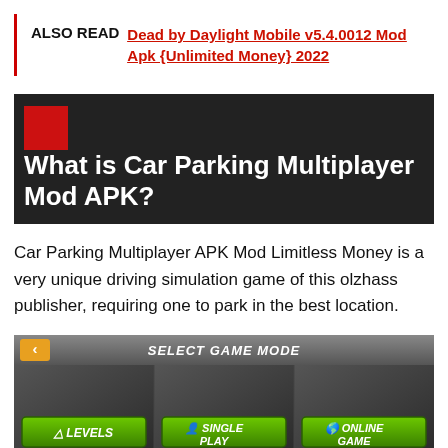ALSO READ  Dead by Daylight Mobile v5.4.0012 Mod Apk {Unlimited Money} 2022
What is Car Parking Multiplayer Mod APK?
Car Parking Multiplayer APK Mod Limitless Money is a very unique driving simulation game of this olzhass publisher, requiring one to park in the best location.
[Figure (screenshot): Car Parking Multiplayer game mode selection screen showing SELECT GAME MODE header with three green buttons: LEVELS, SINGLE PLAY, and ONLINE GAME]